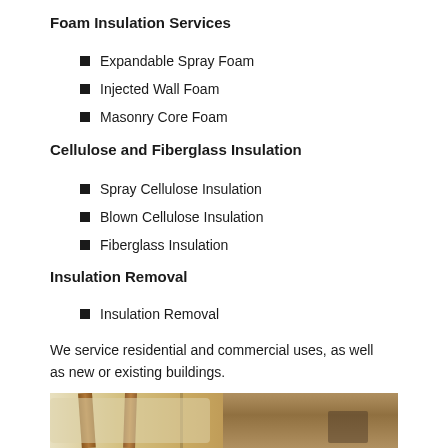Foam Insulation Services
Expandable Spray Foam
Injected Wall Foam
Masonry Core Foam
Cellulose and Fiberglass Insulation
Spray Cellulose Insulation
Blown Cellulose Insulation
Fiberglass Insulation
Insulation Removal
Insulation Removal
We service residential and commercial uses, as well as new or existing buildings.
[Figure (photo): Photo of insulation installation showing foam insulation between wooden beams in a building structure]